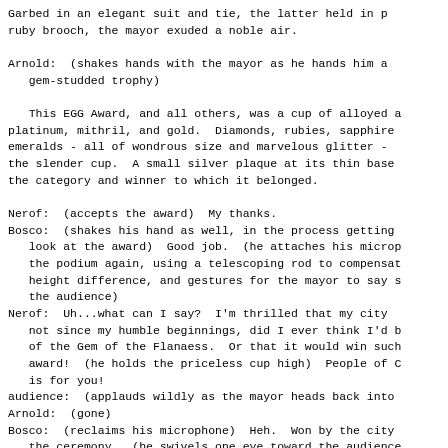Garbed in an elegant suit and tie, the latter held in p ruby brooch, the mayor exuded a noble air.
Arnold:  (shakes hands with the mayor as he hands him a gem-studded trophy)
This EGG Award, and all others, was a cup of alloyed a platinum, mithril, and gold.  Diamonds, rubies, sapphire emeralds - all of wondrous size and marvelous glitter - the slender cup.  A small silver plaque at its thin base the category and winner to which it belonged.
Nerof:  (accepts the award)  My thanks.
Bosco:  (shakes his hand as well, in the process getting   look at the award)  Good job.  (he attaches his microp   the podium again, using a telescoping rod to compensat   height difference, and gestures for the mayor to say s   the audience)
Nerof:  Uh...what can I say?  I'm thrilled that my city    not since my humble beginnings, did I ever think I'd b   of the Gem of the Flanaess.  Or that it would win such   award!  (he holds the priceless cup high)  People of C   is for you!
audience:  (applauds wildly as the mayor heads back into
Arnold:  (gone)
Bosco:  (reclaims his microphone)  Heh.  Won by the city   the ceremony...(he swivels one eye toward the audience   if you ask me.
audience:  (chuckling)
Bosco:  How can a whole city split an award like that, t